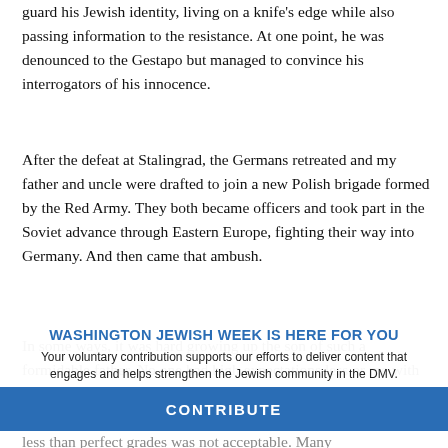guard his Jewish identity, living on a knife's edge while also passing information to the resistance. At one point, he was denounced to the Gestapo but managed to convince his interrogators of his innocence.
After the defeat at Stalingrad, the Germans retreated and my father and uncle were drafted to join a new Polish brigade formed by the Red Army. They both became officers and took part in the Soviet advance through Eastern Europe, fighting their way into Germany. And then came that ambush.
WASHINGTON JEWISH WEEK IS HERE FOR YOU
Your voluntary contribution supports our efforts to deliver content that engages and helps strengthen the Jewish community in the DMV.
In some ways, it was hard growing up the son of such a formidable father. No one had high expectations less or me with in the DMV.
less than perfect grades was not acceptable. Many years later when I was on a speaking tour of Poland, at the invitation of U.S. ambassador, I was taken to my father's high school and